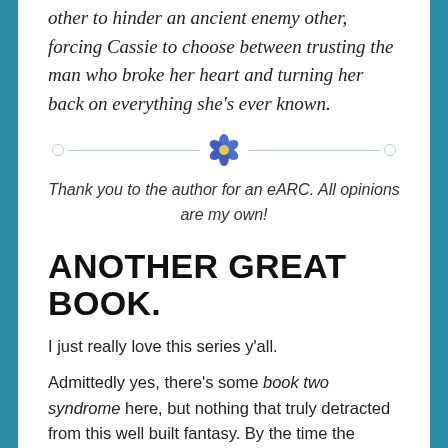other to hinder an ancient enemy other, forcing Cassie to choose between trusting the man who broke her heart and turning her back on everything she's ever known.
[Figure (illustration): A decorative divider with a horizontal line, small circles at each end, and a blue flower in the center.]
Thank you to the author for an eARC. All opinions are my own!
ANOTHER GREAT BOOK.
I just really love this series y'all.
Admittedly yes, there's some book two syndrome here, but nothing that truly detracted from this well built fantasy. By the time the ending was coming up things were wild and I was asking myself [again] how I was